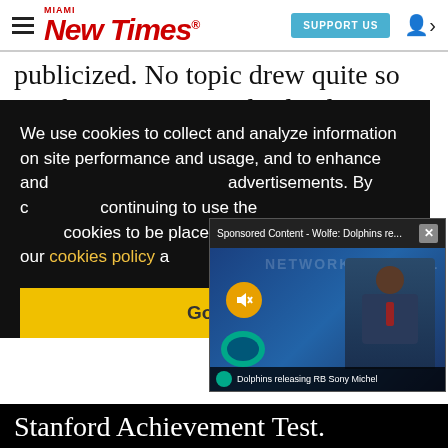Miami New Times | SUPPORT US
publicized. No topic drew quite so much attention -- and ridicule -- as the school's poor
We use cookies to collect and analyze information on site performance and usage, and to enhance and customize content and advertisements. By continuing to use the site, you agree to allow cookies to be placed. To find out more visit our cookies policy a...
[Figure (screenshot): Sponsored video popup titled 'Sponsored Content - Wolfe: Dolphins re...' with a close button (X), showing an NFL Network broadcast with a man in a suit speaking at a Miami Dolphins press conference backdrop. A mute button (orange circle with speaker icon) is visible. Caption bar reads 'Dolphins releasing RB Sony Michel' with Dolphins logo.]
Got it!
Stanford Achievement Test.